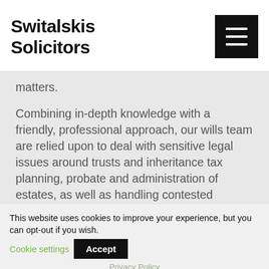Switalskis Solicitors
matters.
Combining in-depth knowledge with a friendly, professional approach, our wills team are relied upon to deal with sensitive legal issues around trusts and inheritance tax planning, probate and administration of estates, as well as handling contested probate and wills disputes.
This website uses cookies to improve your experience, but you can opt-out if you wish. Cookie settings Accept
Privacy Policy